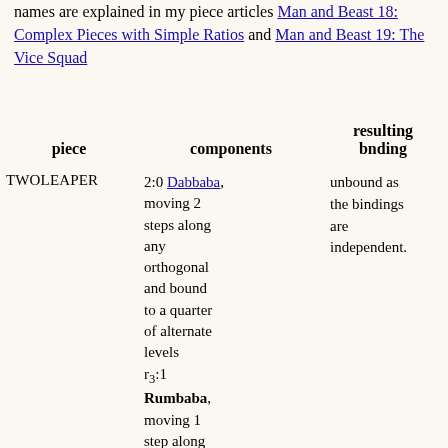names are explained in my piece articles Man and Beast 18: Complex Pieces with Simple Ratios and Man and Beast 19: The Vice Squad
| piece | components | resulting bnding |  |
| --- | --- | --- | --- |
| TWOLEAPER | 2:0 Dabbaba, moving 2 steps along any orthogonal and bound to a quarter of alternate levels
r3:1
Rumbaba, moving 1 step along any hybrid diagonal and | unbound as the bindings are independent. | 1 |